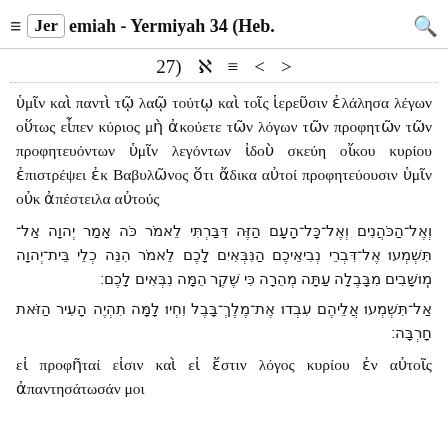≡  Jeremiah - Yermiyah 34 (Heb. 27)  ℵ  ≡  <  >
ὑμῖν καὶ παντὶ τῷ λαῷ τούτῳ καὶ τοῖς ἱερεῦσιν ἐλάλησα λέγων οὕτως εἶπεν κύριος μὴ ἀκούετε τῶν λόγων τῶν προφητῶν τῶν προφητευόντων ὑμῖν λεγόντων ἰδοὺ σκεύη οἴκου κυρίου ἐπιστρέψει ἐκ Βαβυλῶνος ὅτι ἄδικα αὐτοί προφητεύουσιν ὑμῖν οὐκ ἀπέστειλα αὐτούς
וְאֶל־הַכֹּהֲנִים וְאֶל־כָּל־הָעָם הַזֶּה דִּבַּרְתִּי לֵאמֹר כֹּה אָמַר יְהוָה אַל־תִּשְׁמְעוּ אֶל־דִּבְרֵי נְבִיאֵיכֶם הַנִּבְּאִים לָכֶם לֵאמֹר הִנֵּה כְלֵי בֵּית־יְהוָה מֽוּשָׁבִים מִבָּבֶלָה עַתָּה מְהֵרָה כִּי שֶׁקֶר הֵמָּה נִבְּאִים לָכֶם׃
אַל־תִּשְׁמְעוּ אֲלֵיהֶם עִבְדוּ אֶת־מֶלֶךְ־בָּבֶל וִחְיוּ לָמָּה תִהְיֶה הָעִיר הַזֹּאת חָרְבָּה׃
εἰ προφῆταί εἰσιν καὶ εἰ ἔστιν λόγος κυρίου ἐν αὐτοῖς ἀπαντησάτωσάν μοι